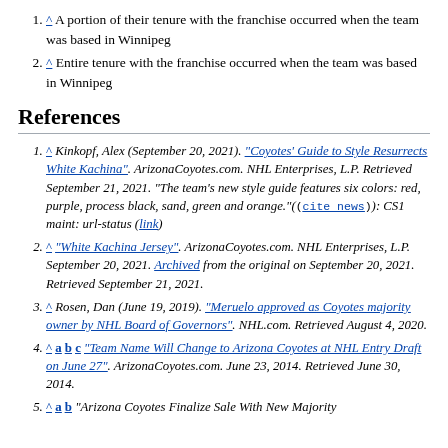^ A portion of their tenure with the franchise occurred when the team was based in Winnipeg
^ Entire tenure with the franchise occurred when the team was based in Winnipeg
References
^ Kinkopf, Alex (September 20, 2021). "Coyotes' Guide to Style Resurrects White Kachina". ArizonaCoyotes.com. NHL Enterprises, L.P. Retrieved September 21, 2021. "The team's new style guide features six colors: red, purple, process black, sand, green and orange." ((cite news)): CS1 maint: url-status (link)
^ "White Kachina Jersey". ArizonaCoyotes.com. NHL Enterprises, L.P. September 20, 2021. Archived from the original on September 20, 2021. Retrieved September 21, 2021.
^ Rosen, Dan (June 19, 2019). "Meruelo approved as Coyotes majority owner by NHL Board of Governors". NHL.com. Retrieved August 4, 2020.
^ a b c "Team Name Will Change to Arizona Coyotes at NHL Entry Draft on June 27". ArizonaCoyotes.com. June 23, 2014. Retrieved June 30, 2014.
^ a b "Arizona Coyotes Finalize Sale With New Majority...